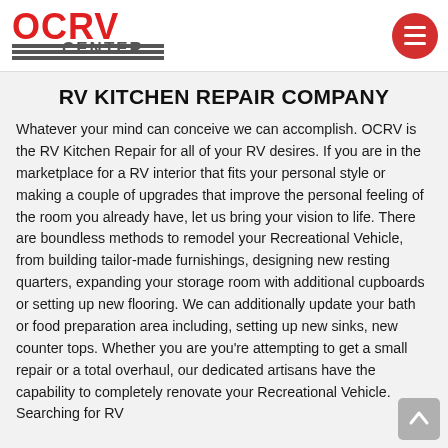[Figure (logo): OCRV Center logo with red block letters and horizontal stripes]
RV KITCHEN REPAIR COMPANY
Whatever your mind can conceive we can accomplish. OCRV is the RV Kitchen Repair for all of your RV desires. If you are in the marketplace for a RV interior that fits your personal style or making a couple of upgrades that improve the personal feeling of the room you already have, let us bring your vision to life. There are boundless methods to remodel your Recreational Vehicle, from building tailor-made furnishings, designing new resting quarters, expanding your storage room with additional cupboards or setting up new flooring. We can additionally update your bath or food preparation area including, setting up new sinks, new counter tops. Whether you are you're attempting to get a small repair or a total overhaul, our dedicated artisans have the capability to completely renovate your Recreational Vehicle. Searching for RV